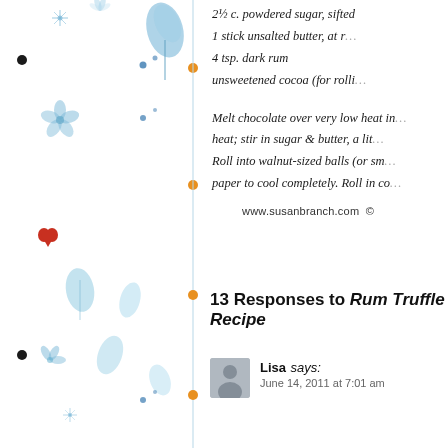[Figure (illustration): Decorative left border with blue floral and leaf watercolor illustrations, orange dots, and black dots on a vertical strip]
2½ c. powdered sugar, sifted
1 stick unsalted butter, at r...
4 tsp. dark rum
unsweetened cocoa (for rolli...
Melt chocolate over very low heat in... heat; stir in sugar & butter, a lit... Roll into walnut-sized balls (or sm... paper to cool completely. Roll in co...
www.susanbranch.com ©
13 Responses to Rum Truffle Recipe
Lisa says:
June 14, 2011 at 7:01 am